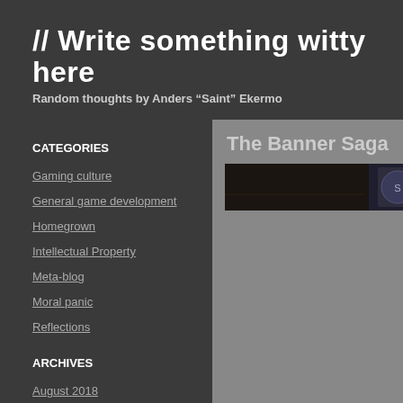// Write something witty here
Random thoughts by Anders “Saint” Ekermo
CATEGORIES
Gaming culture
General game development
Homegrown
Intellectual Property
Meta-blog
Moral panic
Reflections
ARCHIVES
August 2018
January 2018
October 2017
The Banner Saga
[Figure (photo): Dark screenshot image from The Banner Saga game with a badge/icon in the top right corner]
Making a game less user-friendly in orde...